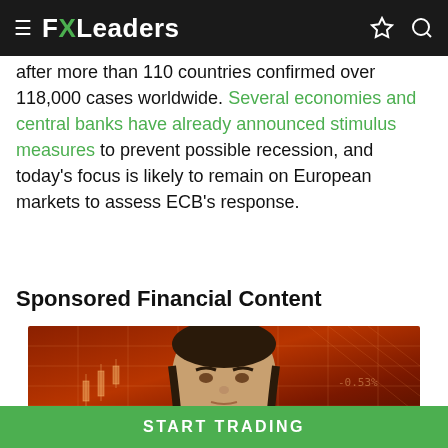FXLeaders
after more than 110 countries confirmed over 118,000 cases worldwide. Several economies and central banks have already announced stimulus measures to prevent possible recession, and today's focus is likely to remain on European markets to assess ECB's response.
Sponsored Financial Content
[Figure (photo): Man's face against an orange/red financial chart background with grid lines and numbers]
START TRADING